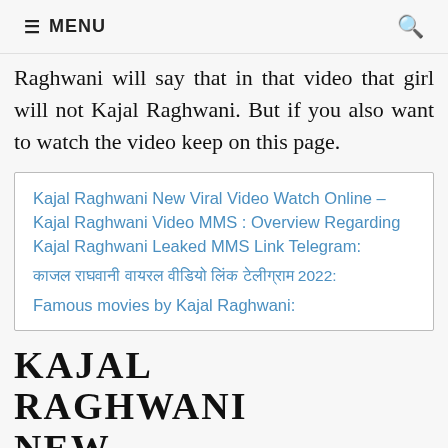≡ MENU  🔍
Raghwani will say that in that video that girl will not Kajal Raghwani. But if you also want to watch the video keep on this page.
Kajal Raghwani New Viral Video Watch Online – Kajal Raghwani Video MMS : Overview Regarding Kajal Raghwani Leaked MMS Link Telegram:
काजल राघवानी वायरल वीडियो लिंक टेलीग्राम 2022:
Famous movies by Kajal Raghwani:
KAJAL RAGHWANI NEW VIRAL VIDEO WATCH